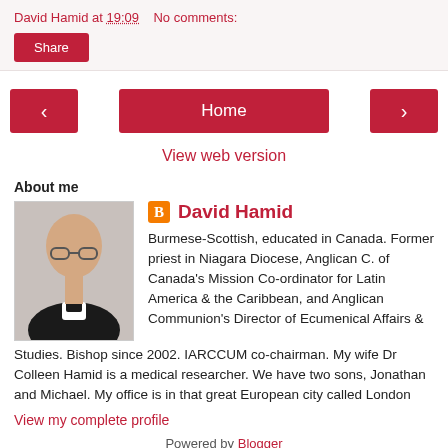David Hamid at 19:09    No comments:
Share
‹   Home   ›
View web version
About me
David Hamid
Burmese-Scottish, educated in Canada. Former priest in Niagara Diocese, Anglican C. of Canada's Mission Co-ordinator for Latin America & the Caribbean, and Anglican Communion's Director of Ecumenical Affairs & Studies. Bishop since 2002. IARCCUM co-chairman. My wife Dr Colleen Hamid is a medical researcher. We have two sons, Jonathan and Michael. My office is in that great European city called London
View my complete profile
Powered by Blogger